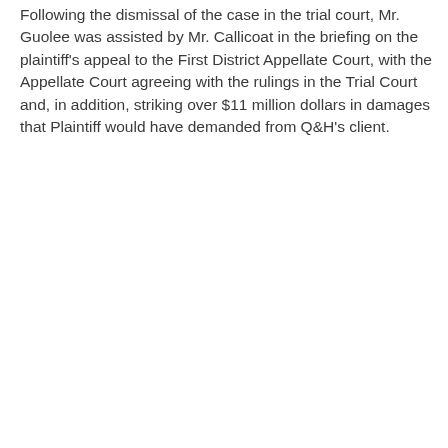Following the dismissal of the case in the trial court, Mr. Guolee was assisted by Mr. Callicoat in the briefing on the plaintiff's appeal to the First District Appellate Court, with the Appellate Court agreeing with the rulings in the Trial Court and, in addition, striking over $11 million dollars in damages that Plaintiff would have demanded from Q&H's client.